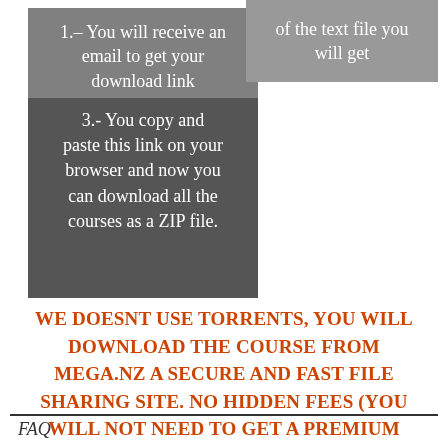1.– You will receive an email to get your download link
3.- You copy and paste this link on your browser and now you can download all the courses as a ZIP file.
of the text file you will get
WE DOESNT USE TORRENTS, YOU WILL DOWNLOAD THE COURSE FROM MEGA.NZ A SECURE AND FAST FILE SHARING SITE. NO HIDDEN FEES (YOU WILL NOT NEED TO GET A PREMIUM ACCOUNT OR ANYTHING ELSE)
FAQ